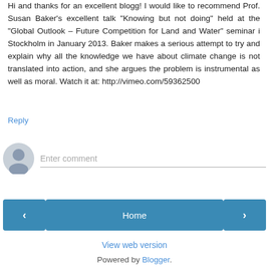Hi and thanks for an excellent blogg! I would like to recommend Prof. Susan Baker's excellent talk "Knowing but not doing" held at the "Global Outlook – Future Competition for Land and Water" seminar i Stockholm in January 2013. Baker makes a serious attempt to try and explain why all the knowledge we have about climate change is not translated into action, and she argues the problem is instrumental as well as moral. Watch it at: http://vimeo.com/59362500
Reply
[Figure (illustration): User avatar placeholder icon (grey circle with silhouette)]
Enter comment
< (previous navigation button)
Home
> (next navigation button)
View web version
Powered by Blogger.